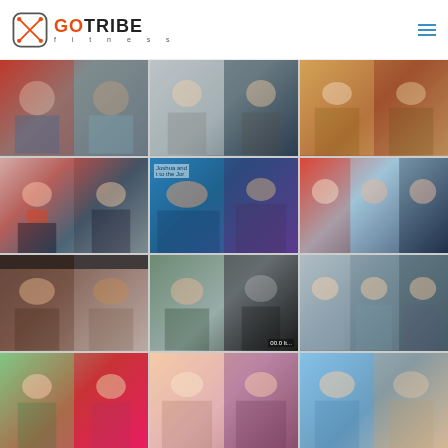GoTribe Fitness logo and navigation
[Figure (photo): Grid of before-and-after fitness transformation photos from GoTribe Fitness clients, arranged in a 3x4 grid. Row 1: colorful outfit side view pair, standing black-and-white pair, outdoor pair. Row 2: profile view woman in sports bra pair, Joshua and presenter on stage, side view woman red top to sports bra. Row 3: man back view selfie pair (with black bar), outdoor hiking and black-and-white woman, back view three-stage transformation. Row 4: outdoor woman pair, blonde woman transformation pair, man shirtless transformation.]